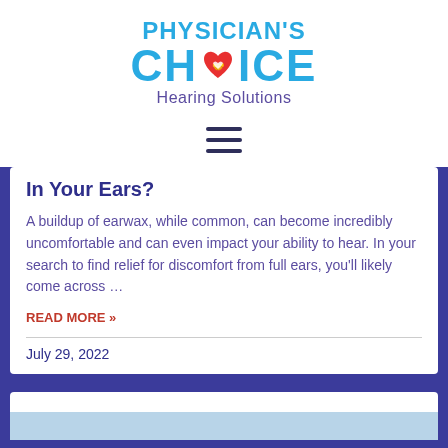[Figure (logo): Physician's Choice Hearing Solutions logo — bold cyan text for PHYSICIAN'S CHOICE with a red heart icon containing hands, and purple subtitle Hearing Solutions]
[Figure (other): Hamburger menu icon (three horizontal dark lines)]
In Your Ears?
A buildup of earwax, while common, can become incredibly uncomfortable and can even impact your ability to hear. In your search to find relief for discomfort from full ears, you'll likely come across …
READ MORE »
July 29, 2022